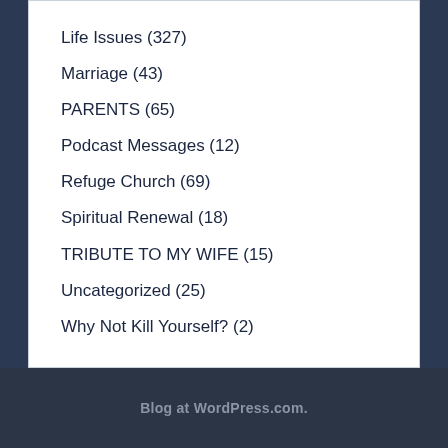Life Issues (327)
Marriage (43)
PARENTS (65)
Podcast Messages (12)
Refuge Church (69)
Spiritual Renewal (18)
TRIBUTE TO MY WIFE (15)
Uncategorized (25)
Why Not Kill Yourself? (2)
Blog at WordPress.com.